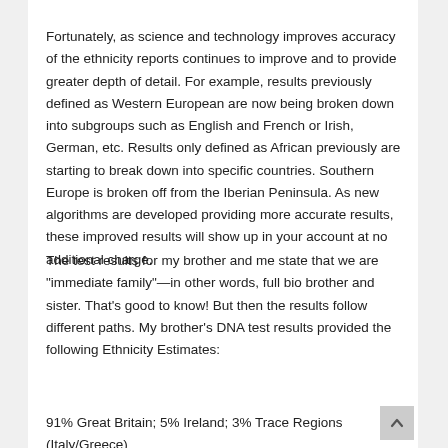Fortunately, as science and technology improves accuracy of the ethnicity reports continues to improve and to provide greater depth of detail. For example, results previously defined as Western European are now being broken down into subgroups such as English and French or Irish, German, etc. Results only defined as African previously are starting to break down into specific countries. Southern Europe is broken off from the Iberian Peninsula. As new algorithms are developed providing more accurate results, these improved results will show up in your account at no additional charge.
The test results for my brother and me state that we are "immediate family"—in other words, full bio brother and sister. That's good to know! But then the results follow different paths. My brother's DNA test results provided the following Ethnicity Estimates:
91% Great Britain; 5% Ireland; 3% Trace Regions (Italy/Greece)